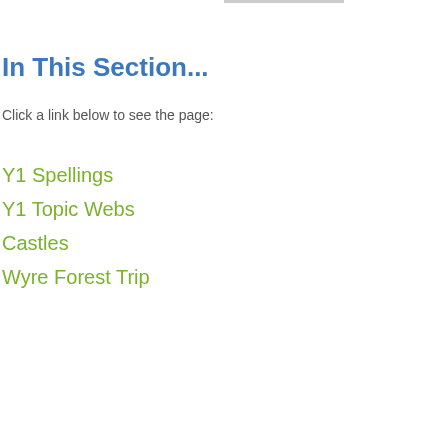In This Section...
Click a link below to see the page:
Y1 Spellings
Y1 Topic Webs
Castles
Wyre Forest Trip